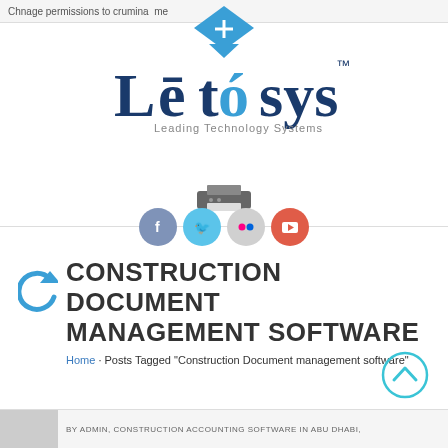Chnage permissions to crumina  me
[Figure (logo): Letosys Leading Technology Systems logo with blue diamond/arrow tooltip above]
[Figure (infographic): Social media icons: Facebook (blue-grey), Twitter (cyan), Flickr (light grey), YouTube (red-orange), with printer icon above]
CONSTRUCTION DOCUMENT MANAGEMENT SOFTWARE
Home · Posts Tagged "Construction Document management software"
[Figure (other): Scroll-up circle arrow button (cyan outline)]
BY ADMIN, CONSTRUCTION ACCOUNTING SOFTWARE IN ABU DHABI,